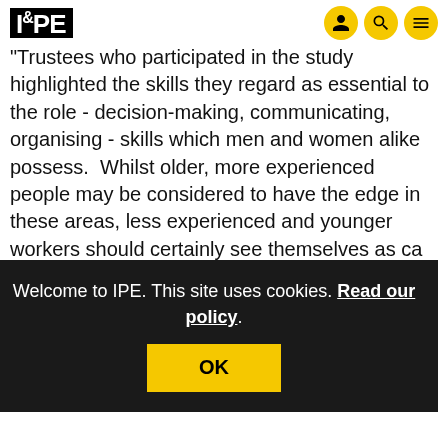IPE
"Trustees who participated in the study highlighted the skills they regard as essential to the role - decision-making, communicating, organising - skills which men and women alike possess.  Whilst older, more experienced people may be considered to have the edge in these areas, less experienced and younger workers should certainly see themselves as ca[ndidates.]
Welcome to IPE. This site uses cookies. Read our policy.
OK
challenge to trustees as is grappling the volume of pension legislation they have to deal with.
Other findings in the survey highlight trustees'